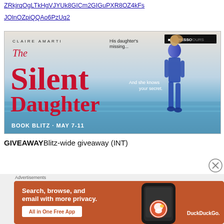ZRkjrqOgLTkHgVJYUk8GICm2GIGuPXR8OZ4kFs...JOlnOZpiQQAo6PzUq2
[Figure (illustration): Book blitz banner for 'The Silent Daughter' by Claire Amarti. Red title text on light background with silhouette of woman in blue. Text: CLAIRE AMARTI, His daughter's missing..., And she knows your secret., The Silent Daughter, BOOK BLITZ · MAY 7-11, XPRESSO TOURS]
GIVEAWAY Blitz-wide giveaway (INT)
Advertisements
[Figure (illustration): DuckDuckGo advertisement: Search, browse, and email with more privacy. All in One Free App. Orange background with phone image and DuckDuckGo logo.]